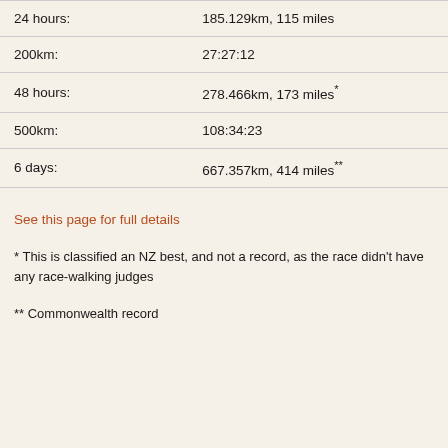| Event | Record |
| --- | --- |
| 24 hours: | 185.129km, 115 miles |
| 200km: | 27:27:12 |
| 48 hours: | 278.466km, 173 miles* |
| 500km: | 108:34:23 |
| 6 days: | 667.357km, 414 miles** |
See this page for full details
* This is classified an NZ best, and not a record, as the race didn't have any race-walking judges
** Commonwealth record